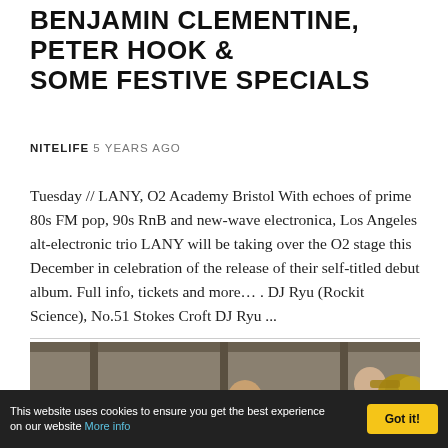BENJAMIN CLEMENTINE, PETER HOOK & SOME FESTIVE SPECIALS
NITELIFE  5 YEARS AGO
Tuesday // LANY, O2 Academy Bristol With echoes of prime 80s FM pop, 90s RnB and new-wave electronica, Los Angeles alt-electronic trio LANY will be taking over the O2 stage this December in celebration of the release of their self-titled debut album. Full info, tickets and more… . DJ Ryu (Rockit Science), No.51 Stokes Croft DJ Ryu ...
[Figure (photo): Outdoor photo showing a bald man with glasses and beard in center, another person to the right holding a brass instrument (tuba), in front of a wooden structure or scaffold, overcast sky.]
This website uses cookies to ensure you get the best experience on our website More info